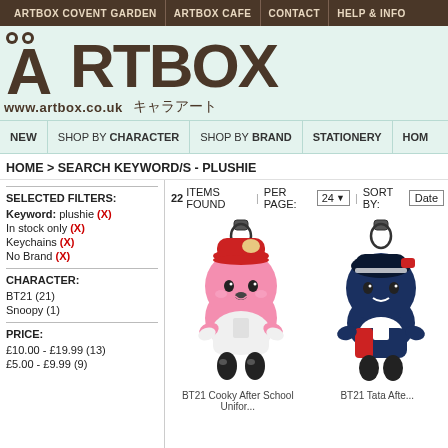ARTBOX COVENT GARDEN | ARTBOX CAFE | CONTACT | HELP & INFO
[Figure (logo): ARTBOX logo in brown with heart, www.artbox.co.uk with Japanese text キャラアート on mint green background]
NEW | SHOP BY CHARACTER | SHOP BY BRAND | STATIONERY | HOME
HOME > SEARCH KEYWORD/S - PLUSHIE
SELECTED FILTERS:
Keyword: plushie (X)
In stock only (X)
Keychains (X)
No Brand (X)
CHARACTER:
BT21 (21)
Snoopy (1)
PRICE:
£10.00 - £19.99 (13)
£5.00 - £9.99 (9)
22 ITEMS FOUND | PER PAGE: 24 | SORT BY: Date
[Figure (photo): BT21 Cooky After School Uniform plushie keychain - pink bunny character with red hat and white outfit]
[Figure (photo): BT21 Tata After School plushie keychain - dark colored character]
BT21 Cooky After School Unifor... BT21 Tata Afte...